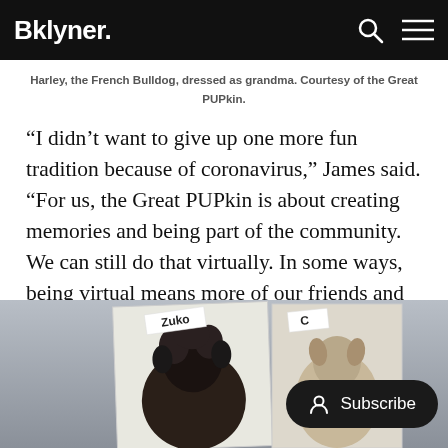Bklyner.
Harley, the French Bulldog, dressed as grandma. Courtesy of the Great PUPkin.
“I didn’t want to give up one more fun tradition because of coronavirus,” James said. “For us, the Great PUPkin is about creating memories and being part of the community. We can still do that virtually. In some ways, being virtual means more of our friends and family can watch from home.”
[Figure (photo): Two dog costume photos side by side. Left photo labeled 'Zuko' shows a dog dressed in curly black wig and outfit. Right photo labeled 'C...' shows a dog in costume.]
Subscribe